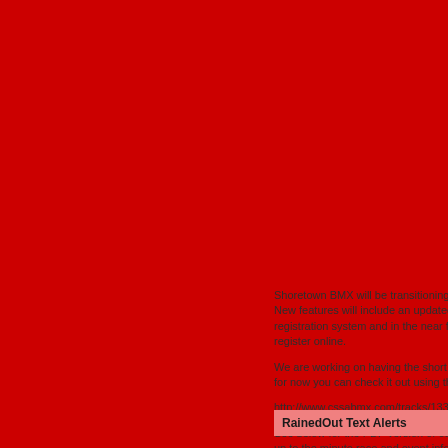Shoretown BMX will be transitioning to a new website. New features will include an updated, friendlier registration system and in the near future the ability to register online.

We are working on having the short cut ready soon, but for now you can check it out using the following link:

http://www.cssabmx.com/tracks/133

See below for the PDF version of our race schedule for up to the minute race and event info!
RainedOut Text Alerts